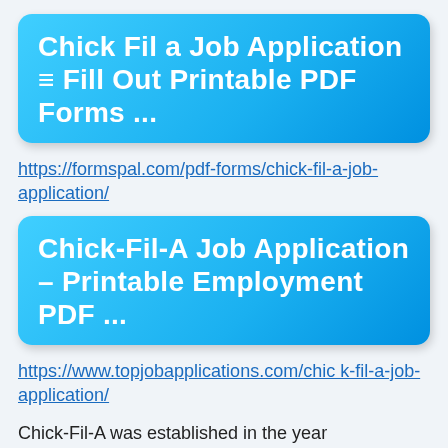[Figure (other): Blue gradient banner button with white bold text: Chick Fil a Job Application ≡ Fill Out Printable PDF Forms ...]
https://formspal.com/pdf-forms/chick-fil-a-job-application/
[Figure (other): Blue gradient banner button with white bold text: Chick-Fil-A Job Application – Printable Employment PDF ...]
https://www.topjobapplications.com/chick-fil-a-job-application/
Chick-Fil-A was established in the year